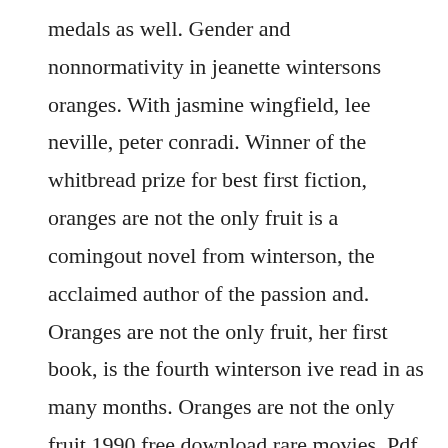medals as well. Gender and nonnormativity in jeanette wintersons oranges. With jasmine wingfield, lee neville, peter conradi. Winner of the whitbread prize for best first fiction, oranges are not the only fruit is a comingout novel from winterson, the acclaimed author of the passion and. Oranges are not the only fruit, her first book, is the fourth winterson ive read in as many months. Oranges are not the only fruit 1990 free download rare movies. Pdf oranges are not the only fruit by jeanette winterson. The main characters of this fiction,